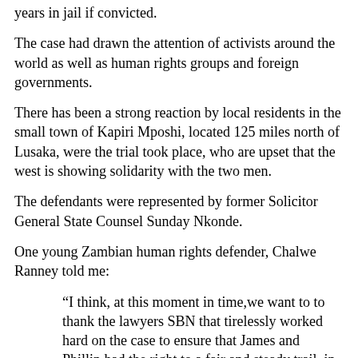years in jail if convicted.
The case had drawn the attention of activists around the world as well as human rights groups and foreign governments.
There has been a strong reaction by local residents in the small town of Kapiri Mposhi, located 125 miles north of Lusaka, were the trial took place, who are upset that the west is showing solidarity with the two men.
The defendants were represented by former Solicitor General State Counsel Sunday Nkonde.
One young Zambian human rights defender, Chalwe Ranney told me:
“I think, at this moment in time,we want to to thank the lawyers SBN that tirelessly worked hard on the case to ensure that James and Phillip had the right to a fair and steady trail, in court without prejudice or influence, despite the fact they had been detained one year behind bars without been accorded their right to apply for bail. Whilst we welcome the ruling it’s important to note that violations towards LGBT persons in Zambia are still being perpetrated at the hands of both state and non state actors. The victory is